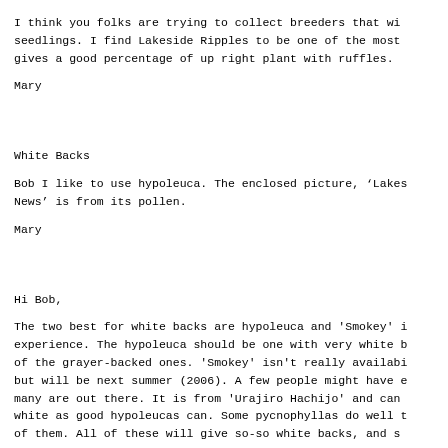I think you folks are trying to collect breeders that wi seedlings. I find Lakeside Ripples to be one of the most gives a good percentage of up right plant with ruffles.
Mary
White Backs
Bob I like to use hypoleuca. The enclosed picture, 'Lakes News' is from its pollen.
Mary
Hi Bob,
The two best for white backs are hypoleuca and 'Smokey' experience. The hypoleuca should be one with very white b of the grayer-backed ones. 'Smokey' isn't really availab but will be next summer (2006). A few people might have many are out there. It is from 'Urajiro Hachijo' and can white as good hypoleucas can. Some pycnophyllas do well of them. All of these will give so-so white backs, and s